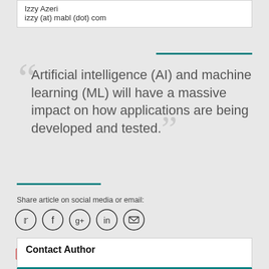Izzy Azeri
izzy (at) mabl (dot) com
Artificial intelligence (AI) and machine learning (ML) will have a massive impact on how applications are being developed and tested.
Share article on social media or email:
[Figure (infographic): Social media sharing icons: Twitter, Facebook, Google+, LinkedIn, Email — each in a circle]
View article via:
[Figure (infographic): PDF and PRINT icons with labels]
Contact Author